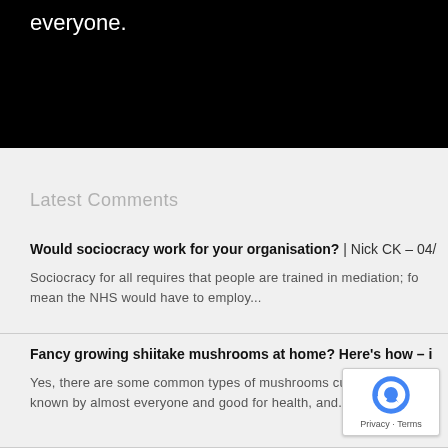everyone.
Latest Comments
Would sociocracy work for your organisation? | Nick CK – 04/
Sociocracy for all requires that people are trained in mediation; fo mean the NHS would have to employ...
Fancy growing shiitake mushrooms at home? Here's how – i
Yes, there are some common types of mushrooms cultivated in th known by almost everyone and good for health, and...